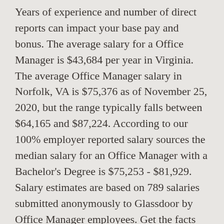Years of experience and number of direct reports can impact your base pay and bonus. The average salary for a Office Manager is $43,684 per year in Virginia. The average Office Manager salary in Norfolk, VA is $75,376 as of November 25, 2020, but the range typically falls between $64,165 and $87,224. According to our 100% employer reported salary sources the median salary for an Office Manager with a Bachelor's Degree is $75,253 - $81,929. Salary estimates are based on 789 salaries submitted anonymously to Glassdoor by Office Manager employees. Get the facts about job duties, education requirements job outlook and salary to determine if this is the